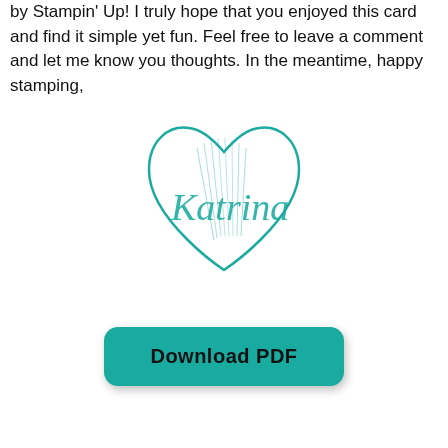by Stampin' Up! I truly hope that you enjoyed this card and find it simple yet fun. Feel free to leave a comment and let me know you thoughts. In the meantime, happy stamping,
[Figure (logo): A teal/turquoise heart outline with feather/leaf detail inside, overlaid with cursive script text 'Katrina' in teal — a signature logo for a stamping blogger named Katrina.]
Download PDF